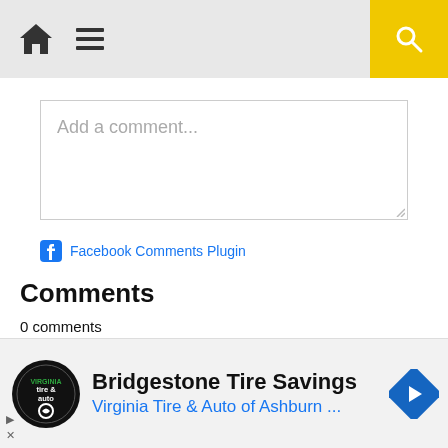[Figure (screenshot): Navigation bar with home icon, hamburger menu icon on grey background, and yellow search button on right]
Add a comment...
Facebook Comments Plugin
Comments
0 comments
0 Comments
Sort by Newest
[Figure (screenshot): Collapse chevron button and input field row]
[Figure (infographic): Advertisement for Bridgestone Tire Savings - Virginia Tire & Auto of Ashburn with logo and arrow icon]